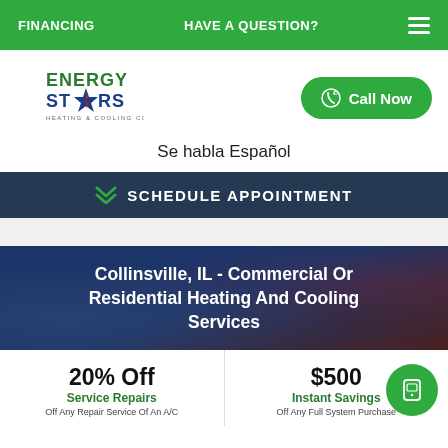FINANCING   HAVE A QUESTION?
[Figure (logo): Energy Stars Heating & Cooling Co logo with star graphic in blue, green, and red]
Call Now
Se habla Español
SCHEDULE APPOINTMENT
Collinsville, IL - Commercial Or Residential Heating And Cooling Services
20% Off
Service Repairs
Off Any Repair Service Of An A/C
$500
Instant Savings
Off Any Full System Purchase